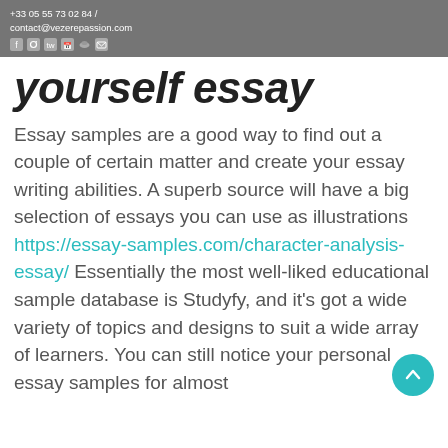+33 05 55 73 02 84 / contact@vezerepassion.com
yourself essay
Essay samples are a good way to find out a couple of certain matter and create your essay writing abilities. A superb source will have a big selection of essays you can use as illustrations https://essay-samples.com/character-analysis-essay/ Essentially the most well-liked educational sample database is Studyfy, and it's got a wide variety of topics and designs to suit a wide array of learners. You can still notice your personal essay samples for almost